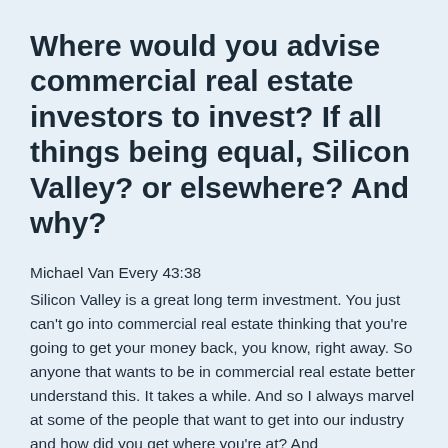Where would you advise commercial real estate investors to invest? If all things being equal, Silicon Valley? or elsewhere? And why?
Michael Van Every 43:38
Silicon Valley is a great long term investment. You just can't go into commercial real estate thinking that you're going to get your money back, you know, right away. So anyone that wants to be in commercial real estate better understand this. It takes a while. And so I always marvel at some of the people that want to get into our industry and how did you get where you're at? And